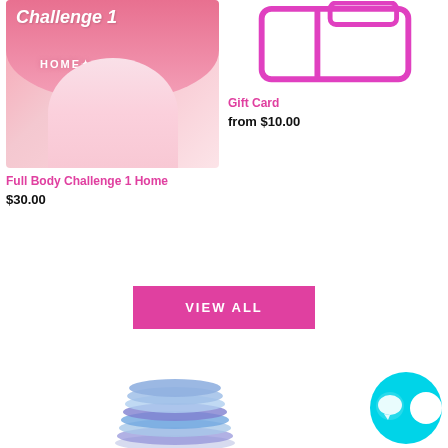[Figure (photo): Product image: Full Body Challenge 1 Home workout program with pink background and female figure in white shorts]
[Figure (illustration): Gift card product image showing a pink gift card icon with bow on white background]
Full Body Challenge 1 Home
$30.00
Gift Card
from $10.00
VIEW ALL
[Figure (photo): Resistance bands product image showing colorful stacked resistance bands at bottom of page]
[Figure (other): Cyan/turquoise circular chat bubble widget in bottom right corner]